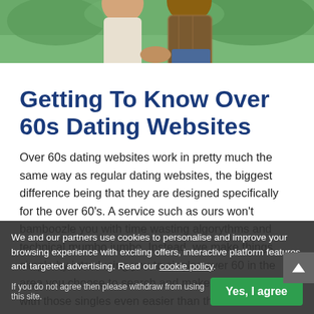[Figure (photo): Photo of two people (seniors) holding hands outdoors in a park, green background]
Getting To Know Over 60s Dating Websites
Over 60s dating websites work in pretty much the same way as regular dating websites, the biggest difference being that they are designed specifically for the over 60's. A service such as ours won't bamboozle you with time wasting algorythms and technical mumbo jumbo. Instead, we make things simple by introducing you to singles over 60 in the area you choose to search and make getting in touch with those singles even easier than that.
What's more, you can join for free, create your own dating profile and it doesn't end there, to make sure the everything you need with no obligation to become a premium
We and our partners use cookies to personalise and improve your browsing experience with exciting offers, interactive platform features and targeted advertising. Read our cookie policy.
If you do not agree then please withdraw from using this site.